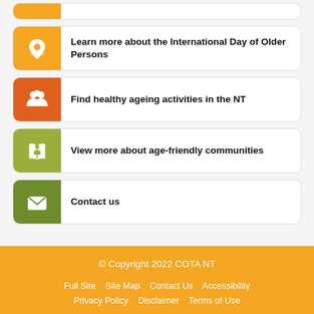Learn more about the International Day of Older Persons
Find healthy ageing activities in the NT
View more about age-friendly communities
Contact us
© Copyright 2022 COTA NT
Full Site   Site Map   Contact Us   Accessibility
Privacy Policy   Disclaimer   Terms of Use